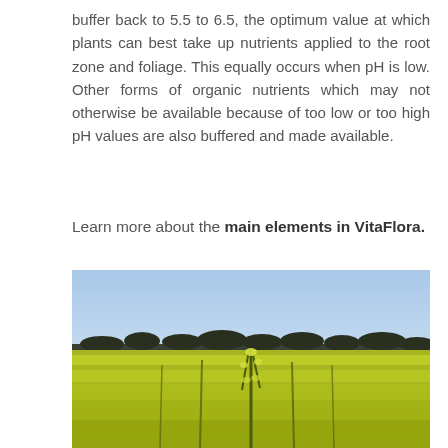buffer back to 5.5 to 6.5, the optimum value at which plants can best take up nutrients applied to the root zone and foliage. This equally occurs when pH is low. Other forms of organic nutrients which may not otherwise be available because of too low or too high pH values are also buffered and made available.
Learn more about the main elements in VitaFlora.
[Figure (photo): A field of yellow flowering canola/rapeseed crops under a dusk or dawn sky transitioning from blue at the top to a pinkish-purple hue near the horizon, with a treeline silhouetted in the background.]